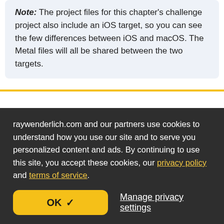Note: The project files for this chapter's challenge project also include an iOS target, so you can see the few differences between iOS and macOS. The Metal files will all be shared between the two targets.
Create a new macOS project using the macOS App template.
Name your project Pipeline and ensure the User
raywenderlich.com and our partners use cookies to understand how you use our site and to serve you personalized content and ads. By continuing to use this site, you accept these cookies, our privacy policy and terms of service.
OK ✓
Manage privacy settings